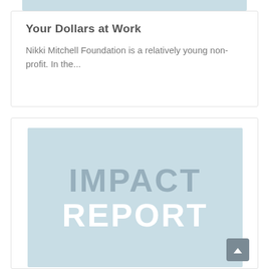[Figure (other): Light blue image strip at top of page, partially visible]
Your Dollars at Work
Nikki Mitchell Foundation is a relatively young non-profit. In the...
[Figure (illustration): Impact Report cover image with light blue background showing the words IMPACT REPORT in large bold text, IMPACT in grey and REPORT in white]